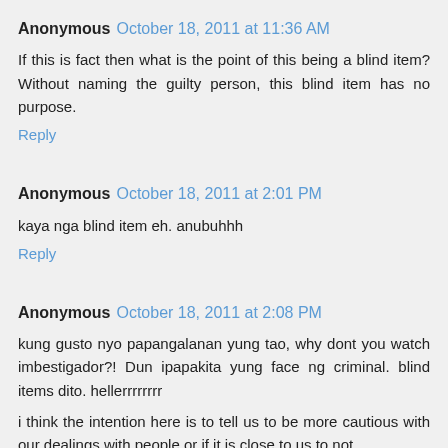Anonymous October 18, 2011 at 11:36 AM
If this is fact then what is the point of this being a blind item? Without naming the guilty person, this blind item has no purpose.
Reply
Anonymous October 18, 2011 at 2:01 PM
kaya nga blind item eh. anubuhhh
Reply
Anonymous October 18, 2011 at 2:08 PM
kung gusto nyo papangalanan yung tao, why dont you watch imbestigador?! Dun ipapakita yung face ng criminal. blind items dito. hellerrrrrrrr
i think the intention here is to tell us to be more cautious with our dealings with people or if it is close to us to not